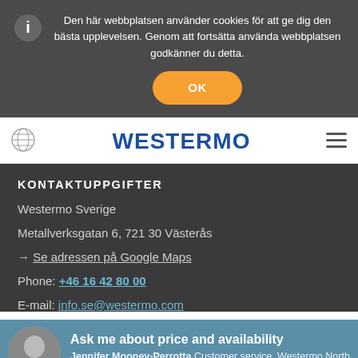Den här webbplatsen använder cookies för att ge dig den bästa upplevelsen. Genom att fortsätta använda webbplatsen godkänner du detta.
OK
[Figure (logo): Westermo logo in blue bold sans-serif text]
KONTAKTUPPGIFTER
Westermo Sverige
Metallverksgatan 6, 721 30 Västerås
→ Se adressen på Google Maps
Phone: +46 16 42 80 00
E-mail: info.se@westermo.com
Ask me about price and availability
Jennifer Mooney-Perrotta Customer service, Westermo North America